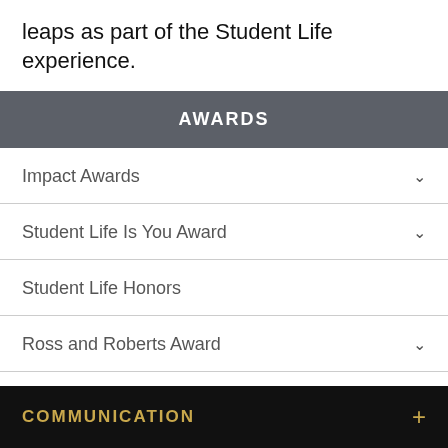leaps as part of the Student Life experience.
AWARDS
Impact Awards
Student Life Is You Award
Student Life Honors
Ross and Roberts Award
COMMUNICATION